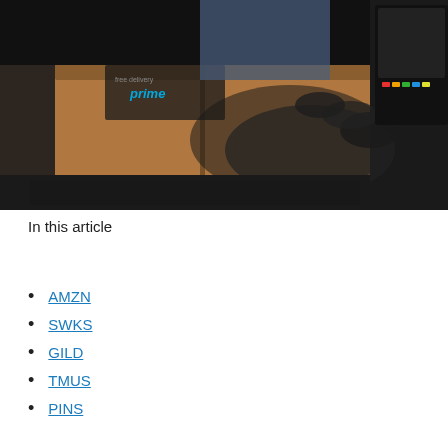[Figure (photo): A person wearing a black glove handling an Amazon Prime cardboard delivery box inside a delivery vehicle, with a payment terminal visible on the right side.]
In this article
AMZN
SWKS
GILD
TMUS
PINS